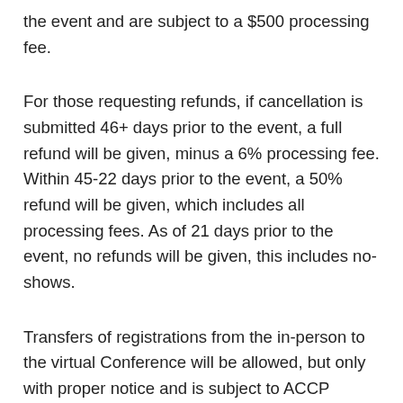the event and are subject to a $500 processing fee.
For those requesting refunds, if cancellation is submitted 46+ days prior to the event, a full refund will be given, minus a 6% processing fee. Within 45-22 days prior to the event, a 50% refund will be given, which includes all processing fees. As of 21 days prior to the event, no refunds will be given, this includes no-shows.
Transfers of registrations from the in-person to the virtual Conference will be allowed, but only with proper notice and is subject to ACCP approval.  Notice must be received in writing no later than 22 days prior to the start of the in-person event.  For notice given within 21 days of the start of the event, the difference in registration fees will NOT be